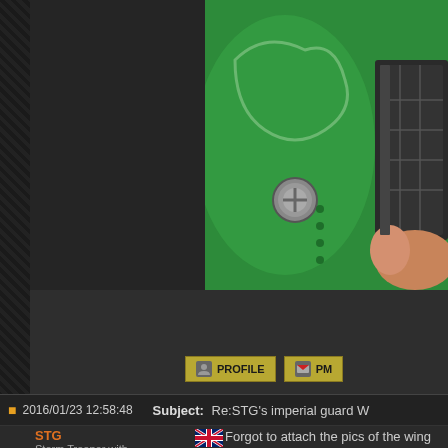[Figure (photo): Close-up photograph of a green surface with a metal bolt/screw and a hand holding a dark metal cage-like structure. The green surface has dotted holes and shows some white markings.]
PROFILE   PM
2016/01/23 12:58:48   Subject: Re:STG's imperial guard W
STG
Storm Trooper with Maglight
Forgot to attach the pics of the wing stru... struts look pretty decent considering the...